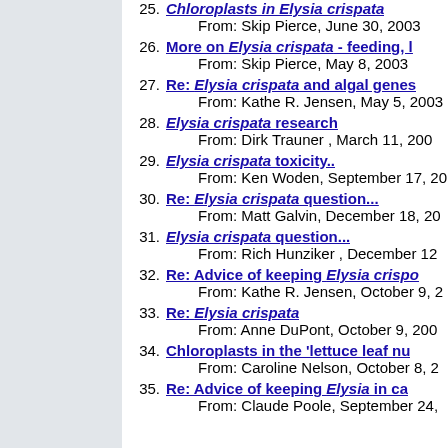25. Chloroplasts in Elysia crispata — From: Skip Pierce, June 30, 2003
26. More on Elysia crispata - feeding, l — From: Skip Pierce, May 8, 2003
27. Re: Elysia crispata and algal genes — From: Kathe R. Jensen, May 5, 2003
28. Elysia crispata research — From: Dirk Trauner, March 11, 200...
29. Elysia crispata toxicity.. — From: Ken Woden, September 17, 20...
30. Re: Elysia crispata question... — From: Matt Galvin, December 18, 20...
31. Elysia crispata question... — From: Rich Hunziker, December 12...
32. Re: Advice of keeping Elysia crispo... — From: Kathe R. Jensen, October 9, 2...
33. Re: Elysia crispata — From: Anne DuPont, October 9, 200...
34. Chloroplasts in the 'lettuce leaf nu... — From: Caroline Nelson, October 8, 2...
35. Re: Advice of keeping Elysia in ca... — From: Claude Poole, September 24, ...